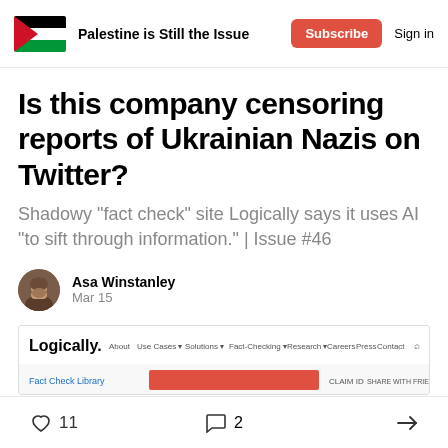Palestine is Still the Issue
Is this company censoring reports of Ukrainian Nazis on Twitter?
Shadowy "fact check" site Logically says it uses AI "to sift through information." | Issue #46
Asa Winstanley
Mar 15
[Figure (screenshot): Screenshot of the Logically website showing navigation bar with links: About, Use Cases, Solutions, Fact-Checking, Research, Careers, Press, Contact, and a search icon. Below shows 'Fact Check Library' and 'CLAIM ID' and 'SHARE WITH FRIENDS' labels.]
11  2